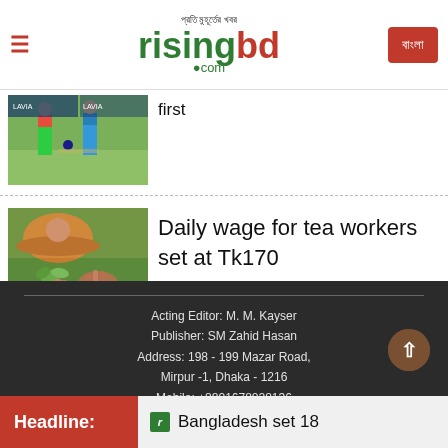প্রতি মুহূর্তের খবর risingbd.com
[Figure (photo): Cricket players on field, partial crop showing top of image]
first
[Figure (photo): Hands picking tea leaves in a tea garden]
Daily wage for tea workers set at Tk170
Acting Editor: M. M. Kayser
Publisher: SM Zahid Hasan
Address: 198 - 199 Mazar Road,
Mirpur -1, Dhaka - 1216
Mobile: +8801678028136
Headline: Bangladesh set 18